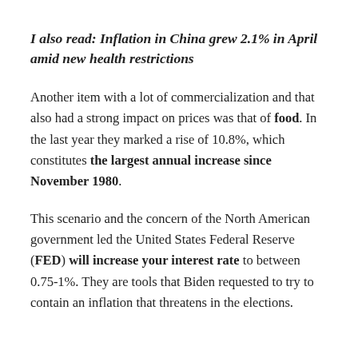I also read: Inflation in China grew 2.1% in April amid new health restrictions
Another item with a lot of commercialization and that also had a strong impact on prices was that of food. In the last year they marked a rise of 10.8%, which constitutes the largest annual increase since November 1980.
This scenario and the concern of the North American government led the United States Federal Reserve (FED) will increase your interest rate to between 0.75-1%. They are tools that Biden requested to try to contain an inflation that threatens in the elections.